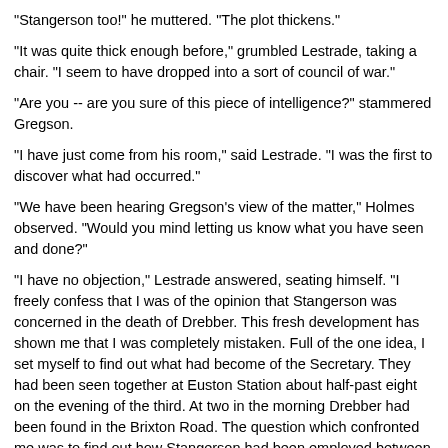"Stangerson too!" he muttered. "The plot thickens."
"It was quite thick enough before," grumbled Lestrade, taking a chair. "I seem to have dropped into a sort of council of war."
"Are you -- are you sure of this piece of intelligence?" stammered Gregson.
"I have just come from his room," said Lestrade. "I was the first to discover what had occurred."
"We have been hearing Gregson's view of the matter," Holmes observed. "Would you mind letting us know what you have seen and done?"
"I have no objection," Lestrade answered, seating himself. "I freely confess that I was of the opinion that Stangerson was concerned in the death of Drebber. This fresh development has shown me that I was completely mistaken. Full of the one idea, I set myself to find out what had become of the Secretary. They had been seen together at Euston Station about half-past eight on the evening of the third. At two in the morning Drebber had been found in the Brixton Road. The question which confronted me was to find out how Stangerson had been employed between 8.30 and the time of the crime, and what had become of him afterwards. I telegraphed to Liverpool, giving a description of the man, and warning them to keep a watch upon the American boats. I then set to work calling upon all the hotels and lodging-houses in the vicinity of Euston. You see, I argued that if Drebber and his companion had become separated, the natural course for the latter would be to put up somewhere in the vicinity for the night, and then to hang about the station again next morning."
"They would li...